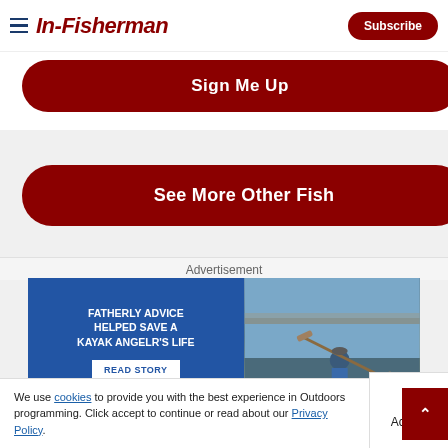In-Fisherman | Subscribe
Sign Me Up
See More Other Fish
Advertisement
[Figure (photo): Advertisement banner: 'Fatherly advice helped save a kayak angler's life' with READ STORY button and photo of kayaker, plus secondary JET SKI HERO ad strip with LEARN MORE button]
Advertisement
We use cookies to provide you with the best experience in Outdoors programming. Click accept to continue or read about our Privacy Policy.